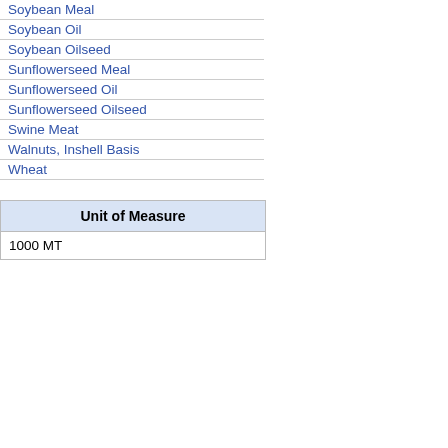Soybean Meal
Soybean Oil
Soybean Oilseed
Sunflowerseed Meal
Sunflowerseed Oil
Sunflowerseed Oilseed
Swine Meat
Walnuts, Inshell Basis
Wheat
| Unit of Measure |
| --- |
| 1000 MT |
| Year | Value | Unit | % Change |
| --- | --- | --- | --- |
| 1968 | 2 | (1000 MT) | 100.00% |
| 1969 | 8 | (1000 MT) | 300.00% |
| 1970 | 45 | (1000 MT) | 462.50% |
| 1971 | 17 | (1000 MT) | -62.22% |
| 1972 | 56 | (1000 MT) | 229.41% |
| 1973 | 27 | (1000 MT) | -51.79% |
| 1974 | 31 | (1000 MT) | 14.81% |
| 1975 | 28 | (1000 MT) | -9.68% |
| 1976 | 8 | (1000 MT) | -71.43% |
| 1977 | 14 | (1000 MT) | 75.00% |
| 1978 | 17 | (1000 MT) | 21.43% |
| 1979 | 13 | (1000 MT) | -23.53% |